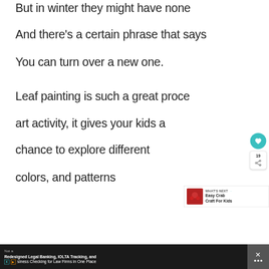But in winter they might have none
And there’s a certain phrase that says
You can turn over a new one.
Leaf painting is such a great proce art activity, it gives your kids a chance to explore different colors, and patterns
[Figure (other): Social sharing sidebar with heart button (teal, count 19) and share icon]
[Figure (infographic): What's Next widget showing Easy Crab Craft For Kids with thumbnail image]
[Figure (screenshot): Advertisement bar at bottom: Not a / Redesigned Legal Banking, IOLTA Tracking, and siness Checking for Law Firms in One Place with close button]